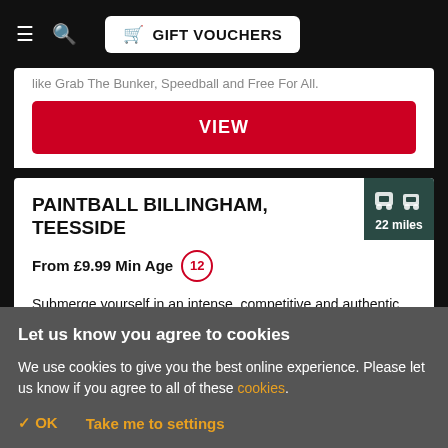GIFT VOUCHERS
like Grab The Bunker, Speedball and Free For All.
VIEW
PAINTBALL BILLINGHAM, TEESSIDE
From £9.99 Min Age 12
Submerge yourself in an intense, competitive and authentic military experience as you battle your way through over 17,000 sq feet of custom-built war-zone!
Let us know you agree to cookies
We use cookies to give you the best online experience. Please let us know if you agree to all of these cookies.
✓ OK
Take me to settings